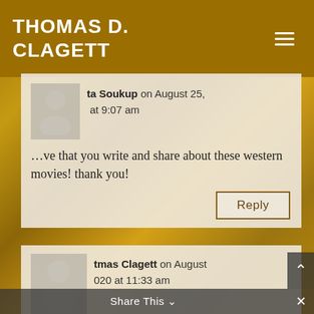THOMAS D. CLAGETT
ta Soukup on August 25, [2020] at 9:07 am
…[lo]ve that you write and share about these western movies! thank you!
Reply
tmas Clagett on August [25, 2]020 at 11:33 am
….…ny thanks, Krista! I'm very glad you enjoy them.
Share This